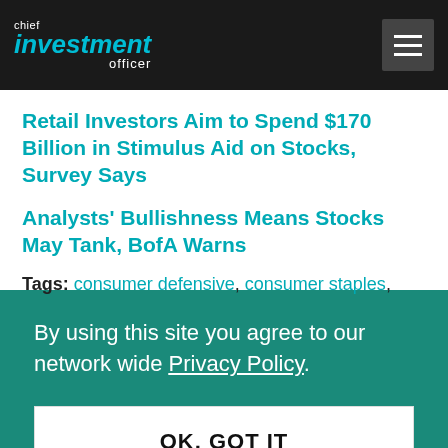chief investment officer
Retail Investors Aim to Spend $170 Billion in Stimulus Aid on Stocks, Survey Says
Analysts' Bullishness Means Stocks May Tank, BofA Warns
Tags: consumer defensive, consumer staples,
By using this site you agree to our network wide Privacy Policy.
OK, GOT IT